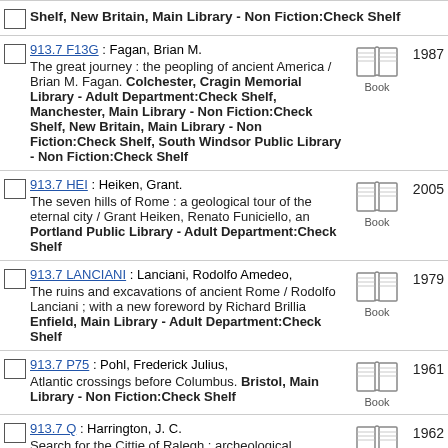Shelf, New Britain, Main Library - Non Fiction:Check Shelf
913.7 F13G : Fagan, Brian M. The great journey : the peopling of ancient America / Brian M. Fagan. Colchester, Cragin Memorial Library - Adult Department:Check Shelf, Manchester, Main Library - Non Fiction:Check Shelf, New Britain, Main Library - Non Fiction:Check Shelf, South Windsor Public Library - Non Fiction:Check Shelf 1987 Book
913.7 HEI : Heiken, Grant. The seven hills of Rome : a geological tour of the eternal city / Grant Heiken, Renato Funiciello, an Portland Public Library - Adult Department:Check Shelf 2005 Book
913.7 LANCIANI : Lanciani, Rodolfo Amedeo, The ruins and excavations of ancient Rome / Rodolfo Lanciani ; with a new foreword by Richard Brillia Enfield, Main Library - Adult Department:Check Shelf 1979 Book
913.7 P75 : Pohl, Frederick Julius, Atlantic crossings before Columbus. Bristol, Main Library - Non Fiction:Check Shelf 1961 Book
913.7 Q : Harrington, J. C. Search for the Cittie of Ralegh : archeological excavations at Fort Raleigh National Historic Site, N Manchester, Main Library - Basement 1962 Book